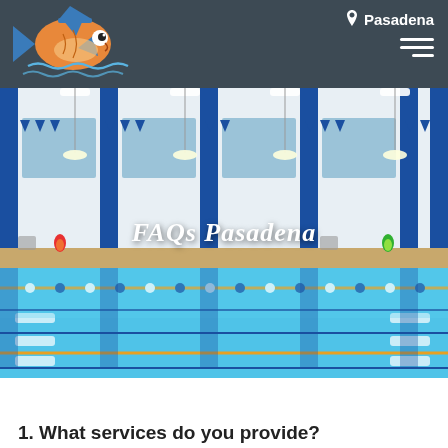Pasadena
[Figure (photo): Indoor swimming pool facility with blue lane dividers, blue triangular pennant banners, white walls with wave decorations, and colorful fish windsocks. The pool has multiple lanes visible with clear blue water. Ceiling has hanging lights.]
FAQs Pasadena
1. What services do you provide?